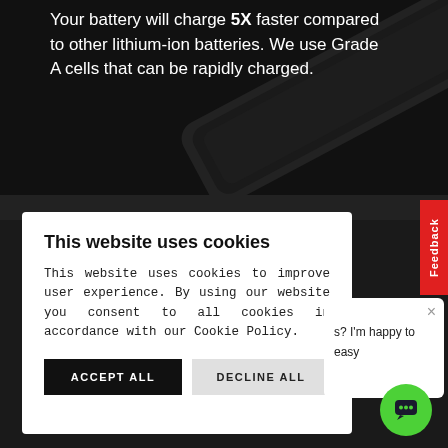Your battery will charge 5X faster compared to other lithium-ion batteries. We use Grade A cells that can be rapidly charged.
[Figure (screenshot): Dark background with diagonal cylindrical battery shape]
This website uses cookies
This website uses cookies to improve user experience. By using our website you consent to all cookies in accordance with our Cookie Policy.
ACCEPT ALL
DECLINE ALL
Feedback
s? I'm happy to
easy